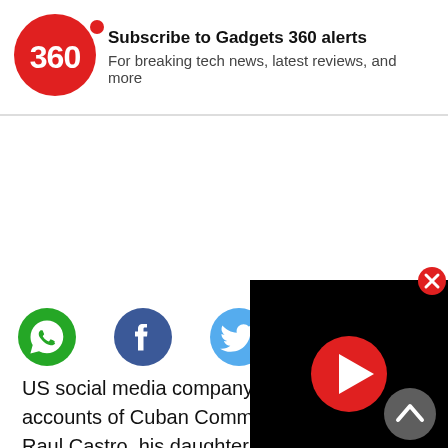[Figure (logo): Gadgets 360 logo - red circle with '360' text]
Subscribe to Gadgets 360 alerts
For breaking tech news, latest reviews, and more
No
YES
[Figure (infographic): Social sharing icons: WhatsApp (green), Facebook (blue), Twitter (light blue)]
[Figure (screenshot): Video player overlay with black background and red play button in center]
US social media company Twitter ha accounts of Cuban Communist Party Leader Raul Castro, his daughter Mariela Castro and Cuba's top state-run media outlets, a move the Cuban Union of